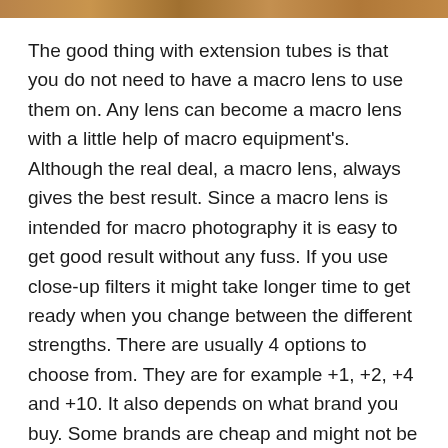[Figure (photo): Thin decorative photo strip at top of page, showing warm brown/amber tones, appears to be a cropped nature or macro photography image.]
The good thing with extension tubes is that you do not need to have a macro lens to use them on. Any lens can become a macro lens with a little help of macro equipment's. Although the real deal, a macro lens, always gives the best result. Since a macro lens is intended for macro photography it is easy to get good result without any fuss. If you use close-up filters it might take longer time to get ready when you change between the different strengths. There are usually 4 options to choose from. They are for example +1, +2, +4 and +10. It also depends on what brand you buy. Some brands are cheap and might not be as good in clarity like the more expensive and well known brands. It all depends on how much time and money you want to spend on macro photography. If you only want to try something out then it is fine with the